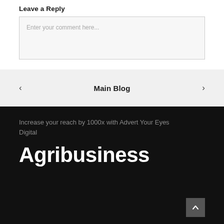Leave a Reply
Enter your comment here...
Main Blog
Increase your reach by 1000x with Advert Your Eyes Digital
Agribusiness